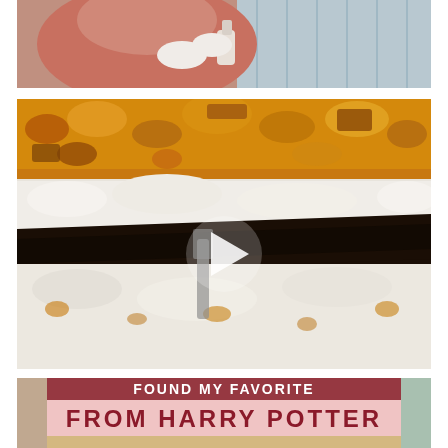[Figure (photo): Top partial image showing a person in a red/pink top holding a spray bottle near a wire fence or grill, cropped at top and bottom]
[Figure (photo): Close-up of a layered dessert/cake being sliced, showing layers of dark chocolate Oreo crust, white cream/ice cream filling, and orange caramel/candy topping. A white play button triangle is overlaid in the center indicating this is a video thumbnail.]
[Figure (photo): Bottom partial image showing a banner with text from Harry Potter, with a pink/rose background banner reading FROM HARRY POTTER in bold dark red letters, and a pastry/baked good visible below]